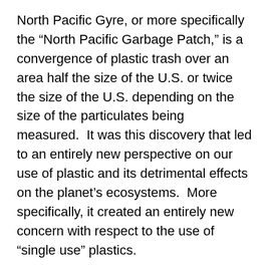North Pacific Gyre, or more specifically the “North Pacific Garbage Patch,” is a convergence of plastic trash over an area half the size of the U.S. or twice the size of the U.S. depending on the size of the particulates being measured.  It was this discovery that led to an entirely new perspective on our use of plastic and its detrimental effects on the planet’s ecosystems.  More specifically, it created an entirely new concern with respect to the use of “single use” plastics.
The oceans are being turned into a toilet bowl of bio-toxic chemicals as a byproduct of plastic slowly dissolving into the oceans.  We are literally “plasticizing” the oceans.
Today there are 5 Gyres or “garbage patches” that have formed in the oceans with the largest one being THE NORTH PACIFIC GYRE, which depending on the size of